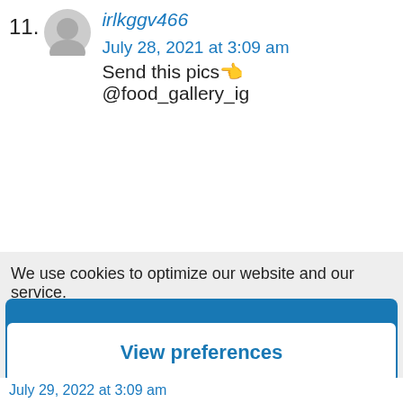11. irlkggv466
July 28, 2021 at 3:09 am
Send this pics👈 @food_gallery_ig
We use cookies to optimize our website and our service. Cookie Policy
Accept all
Functional only
View preferences
July 29, 2022 at 3:09 am